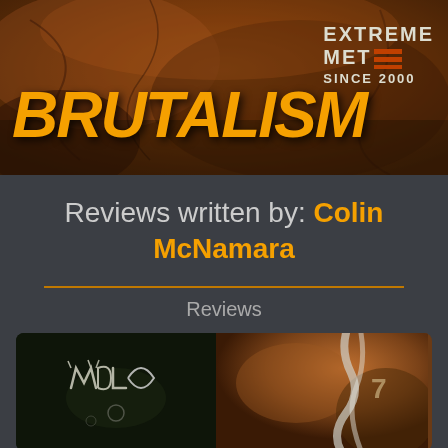[Figure (photo): Brutalism website header banner with textured rusty/rocky dark orange-brown background]
BRUTALISM
[Figure (logo): Extreme Metal Since 2000 badge with hamburger menu icon]
Reviews written by: Colin McNamara
Reviews
[Figure (photo): Album cover image split: left side shows black metal style logo on dark background, right side shows rocky/waterfall scene]